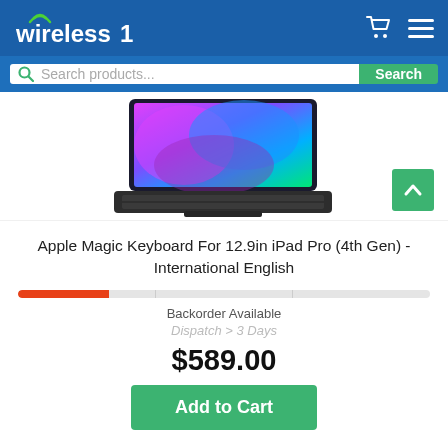Wireless 1
[Figure (screenshot): Wireless 1 website header with logo, cart icon, and hamburger menu]
[Figure (photo): Apple Magic Keyboard for 12.9in iPad Pro (4th Gen) product photo showing iPad mounted on keyboard with colorful wallpaper]
Apple Magic Keyboard For 12.9in iPad Pro (4th Gen) - International English
Backorder Available
Dispatch > 3 Days
$589.00
Add to Cart